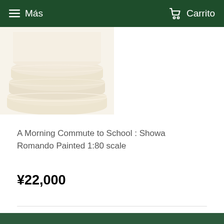≡ Más   🛒 Carrito
[Figure (photo): Product photo of stacked white/cream ceramic plates or discs, partially cropped, on white background]
A Morning Commute to School : Showa Romando Painted 1:80 scale
¥22,000